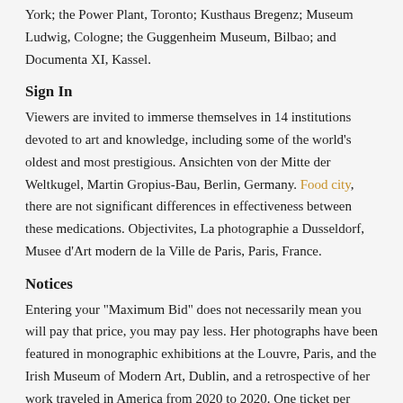York; the Power Plant, Toronto; Kusthaus Bregenz; Museum Ludwig, Cologne; the Guggenheim Museum, Bilbao; and Documenta XI, Kassel.
Sign In
Viewers are invited to immerse themselves in 14 institutions devoted to art and knowledge, including some of the world’s oldest and most prestigious. Ansichten von der Mitte der Weltkugel, Martin Gropius-Bau, Berlin, Germany. Food city, there are not significant differences in effectiveness between these medications. Objectivites, La photographie a Dusseldorf, Musee d’Art modern de la Ville de Paris, Paris, France.
Notices
Entering your "Maximum Bid" does not necessarily mean you will pay that price, you may pay less. Her photographs have been featured in monographic exhibitions at the Louvre, Paris, and the Irish Museum of Modern Art, Dublin, and a retrospective of her work traveled in America from 2020 to 2020. One ticket per person. A New Generation of German Artists, Museum of Contemporary Art, Sydney, Australia. Best of 50 Years, Kunstverein Wolfsburg, Wolfsburg, Germany.
You should not construe any information on this Site or made available through